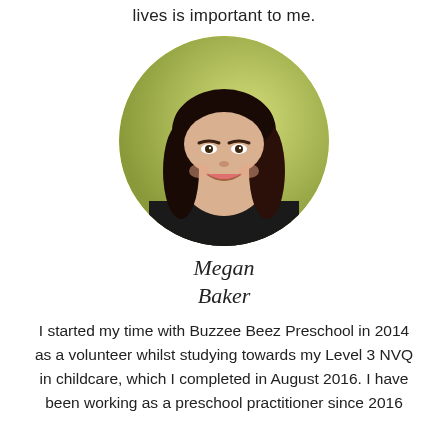lives is important to me.
[Figure (photo): Circular portrait photo of Megan Baker, a young woman with long dark hair, smiling, wearing a black top, against a greenish-yellow background.]
Megan Baker
I started my time with Buzzee Beez Preschool in 2014 as a volunteer whilst studying towards my Level 3 NVQ in childcare, which I completed in August 2016. I have been working as a preschool practitioner since 2016